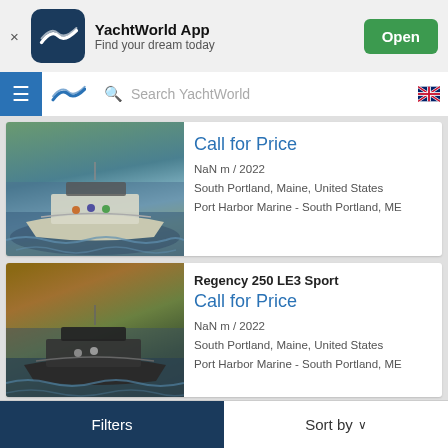[Figure (screenshot): YachtWorld App banner with logo, name, tagline and Open button]
[Figure (screenshot): Navigation bar with hamburger menu, YachtWorld logo, search bar and UK flag]
[Figure (photo): Pontoon boat on water - Call for Price listing]
Call for Price
NaN m / 2022
South Portland, Maine, United States
Port Harbor Marine - South Portland, ME
[Figure (photo): Pontoon boat - Regency 250 LE3 Sport listing]
Regency 250 LE3 Sport
Call for Price
NaN m / 2022
South Portland, Maine, United States
Port Harbor Marine - South Portland, ME
Filters    Sort by